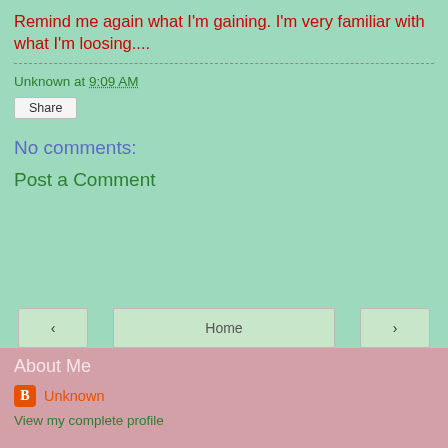Remind me again what I'm gaining. I'm very familiar with what I'm loosing....
Unknown at 9:09 AM
Share
No comments:
Post a Comment
< Home >
View web version
About Me
Unknown
View my complete profile